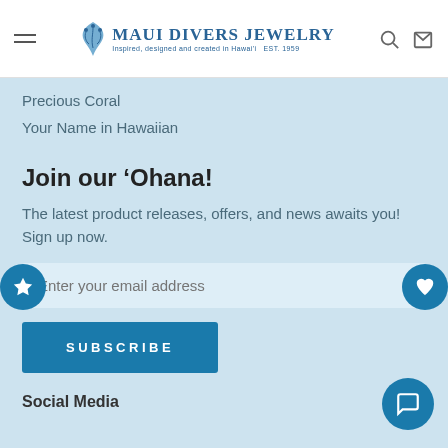Maui Divers Jewelry — Inspired, designed and created in Hawai'i EST. 1959
Precious Coral
Your Name in Hawaiian
Join our 'Ohana!
The latest product releases, offers, and news awaits you! Sign up now.
Enter your email address
SUBSCRIBE
Social Media